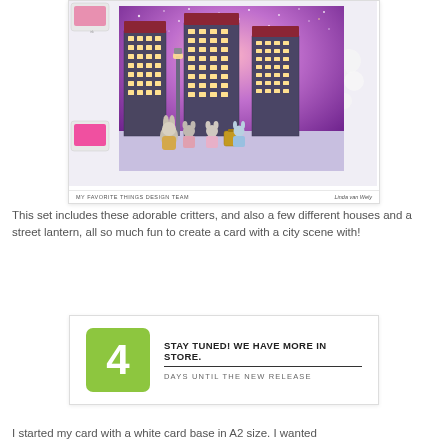[Figure (photo): A handmade greeting card showing cute animal characters (rabbit, mice) standing in front of illuminated city buildings against a purple/pink starry sky. Pink ink pads and white flowers visible around the card. Caption bar reads 'MY FAVORITE THINGS DESIGN TEAM' and 'Linda van Wely'.]
MY FAVORITE THINGS DESIGN TEAM | Linda van Wely
This set includes these adorable critters, and also a few different houses and a street lantern, all so much fun to create a card with a city scene with!
[Figure (infographic): Promotional banner with a green rounded square containing the number 4, with bold text 'STAY TUNED! WE HAVE MORE IN STORE.' and subtitle 'DAYS UNTIL THE NEW RELEASE']
I started my card with a white card base in A2 size. I wanted